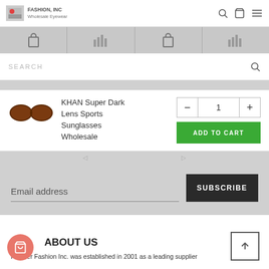FASHION, INC Wholesale Eyewear
[Figure (screenshot): Navigation icon row with cart, bar chart icons in gray cells]
SEARCH
KHAN Super Dark Lens Sports Sunglasses Wholesale
[Figure (photo): Brown/orange sports sunglasses product image]
1
ADD TO CART
Email address
SUBSCRIBE
ABOUT US
Frontier Fashion Inc. was established in 2001 as a leading supplier